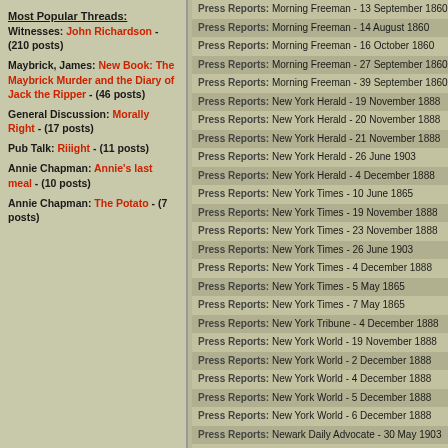Most Popular Threads:
Witnesses: John Richardson - (210 posts)
Maybrick, James: New Book: The Maybrick Murder and the Diary of Jack the Ripper - (46 posts)
General Discussion: Morally Right - (17 posts)
Pub Talk: Riiight - (11 posts)
Annie Chapman: Annie's last meal - (10 posts)
Annie Chapman: The Potato - (7 posts)
Press Reports: Morning Freeman - 13 September 1860
Press Reports: Morning Freeman - 14 August 1860
Press Reports: Morning Freeman - 16 October 1860
Press Reports: Morning Freeman - 27 September 1860
Press Reports: Morning Freeman - 39 September 1860
Press Reports: New York Herald - 19 November 1888
Press Reports: New York Herald - 20 November 1888
Press Reports: New York Herald - 21 November 1888
Press Reports: New York Herald - 26 June 1903
Press Reports: New York Herald - 4 December 1888
Press Reports: New York Times - 10 June 1865
Press Reports: New York Times - 19 November 1888
Press Reports: New York Times - 23 November 1888
Press Reports: New York Times - 26 June 1903
Press Reports: New York Times - 4 December 1888
Press Reports: New York Times - 5 May 1865
Press Reports: New York Times - 7 May 1865
Press Reports: New York Tribune - 4 December 1888
Press Reports: New York World - 19 November 1888
Press Reports: New York World - 2 December 1888
Press Reports: New York World - 4 December 1888
Press Reports: New York World - 5 December 1888
Press Reports: New York World - 6 December 1888
Press Reports: Newark Daily Advocate - 30 May 1903
Press Reports: Oakland Daily Evening Tribune - 8 December
Press Reports: Olean Democrat - 3 January 1889
Press Reports: Olean Democrat - 7 February 1889
Press Reports: Olean Democrat - 8 August 1889
Press Reports: Perth Courier - 26 November 1858
Press Reports: Pittsburgh Daily Chronicle and Telegraph -
Press Reports: Reno Evening Gazette - 20 November 1888
Press Reports: Rochester Daily Union and Advertiser - 4 A
Press Reports: Rochester Daily Union and Advertiser -